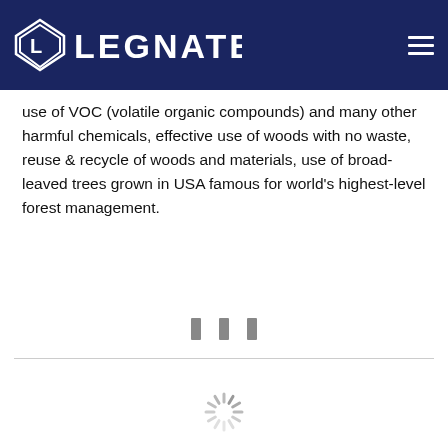LEGNATEC
use of VOC (volatile organic compounds) and many other harmful chemicals, effective use of woods with no waste, reuse & recycle of woods and materials, use of broad-leaved trees grown in USA famous for world's highest-level forest management.
[Figure (other): Social media icons (three vertical bar icons in gray)]
[Figure (other): Loading spinner icon at the bottom of the page]